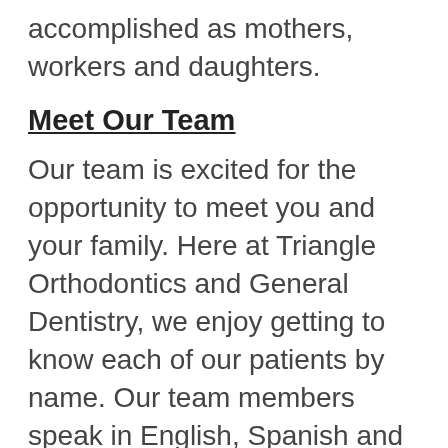accomplished as mothers, workers and daughters.
Meet Our Team
Our team is excited for the opportunity to meet you and your family. Here at Triangle Orthodontics and General Dentistry, we enjoy getting to know each of our patients by name. Our team members speak in English, Spanish and Urdu to help patients feel comfortable in our office. We strive to help patients learn about the benefits of healthy teeth and will do our best to give each of them a bright and lively experience with our team. Call us today at 919-968-0015 to learn more and make an appointment with our orthodontist in Durham and Raleigh, North Carolina, today!